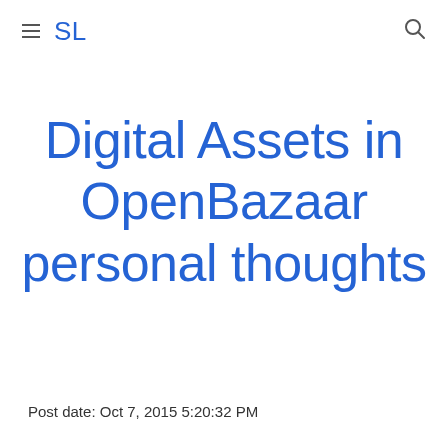SL
Digital Assets in OpenBazaar personal thoughts
Post date: Oct 7, 2015 5:20:32 PM